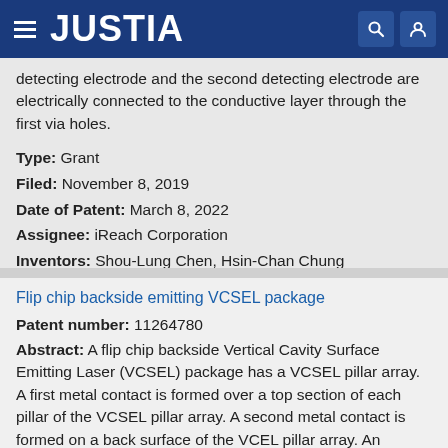JUSTIA
detecting electrode and the second detecting electrode are electrically connected to the conductive layer through the first via holes.
Type: Grant
Filed: November 8, 2019
Date of Patent: March 8, 2022
Assignee: iReach Corporation
Inventors: Shou-Lung Chen, Hsin-Chan Chung
Flip chip backside emitting VCSEL package
Patent number: 11264780
Abstract: A flip chip backside Vertical Cavity Surface Emitting Laser (VCSEL) package has a VCSEL pillar array. A first metal contact is formed over a top section of each pillar of the VCSEL pillar array. A second metal contact is formed on a back surface of the VCEL pillar array. An opening is formed in the second metal contact and